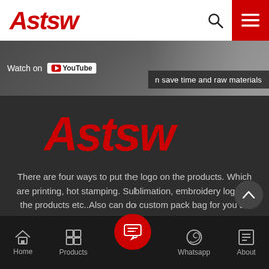[Figure (logo): ASTSW company logo in red italic script font on white header background]
[Figure (screenshot): YouTube banner overlay with 'Watch on YouTube' label and text 'can save time and raw materials' on dark video background]
[Figure (logo): Large ASTSW logo in red italic script on dark grey background]
There are four ways to put the logo on the products. Which are printing, hot stamping. Sublimation, embroidery logo on the products etc..Also can do custom pack bag for you as request.
[Figure (other): Read More button with grey border on dark background]
[Figure (other): Bottom navigation bar with Home, Products, center inquiry button, Whatsapp, and About icons]